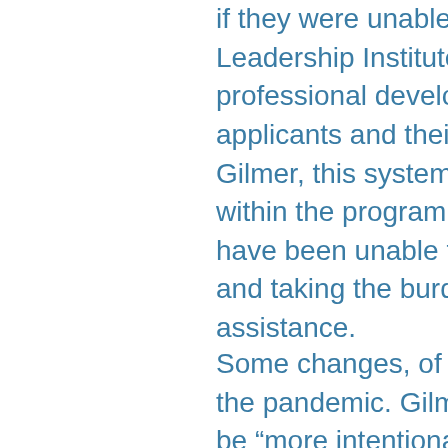if they were unable to pay. Starting this year, Leadership Institute has a cost dependent on the professional development budget of the individual applicants and their organizations. According to Gilmer, this system has allowed for more diversity within the program, attracting folks who might have been unable to pay the higher cost before, and taking the burden off of individuals to request assistance.
Some changes, of course, were brought about by the pandemic. Gilmer says that they have had to be “more intentional about community building” in the virtual landscape. For example, at the beginning of their sessions, they have a check-in where cohort